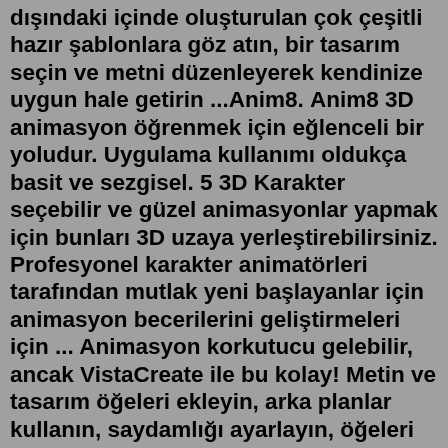dışındaki içinde oluşturulan çok çeşitli hazır şablonlara göz atın, bir tasarım seçin ve metni düzenleyerek kendinize uygun hale getirin ...Anim8. Anim8 3D animasyon öğrenmek için eğlenceli bir yoludur. Uygulama kullanımı oldukça basit ve sezgisel. 5 3D Karakter seçebilir ve güzel animasyonlar yapmak için bunları 3D uzaya yerleştirebilirsiniz. Profesyonel karakter animatörleri tarafından mutlak yeni başlayanlar için animasyon becerilerini geliştirmeleri için ... Animasyon korkutucu gelebilir, ancak VistaCreate ile bu kolay! Metin ve tasarım öğeleri ekleyin, arka planlar kullanın, saydamlığı ayarlayın, öğeleri katmanlar arasında taşıyın ve daha fazlasını yapın. Video Arşivi. Tasarımınızı daha da güzel hale getirmek için çarpıcı video görüntüleri kullanın - herhangi bir ... Adobe animasyonu destekliyor. Adobe Creative Cloud Tüm Uygulamalar planı, bugüne kadarki en iyi çalışmalarınızı üretmeniz için tüm animasyon uygulamalarımızı ve daha da fazlasını içerir. Ayda sadece ₺332,76. Bir plan seçin. Çöp Adam: animasyon